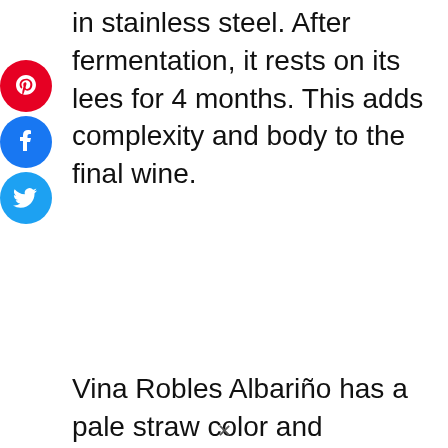in stainless steel. After fermentation, it rests on its lees for 4 months. This adds complexity and body to the final wine.
[Figure (other): Social media share icons: Pinterest (red circle), Facebook (blue circle), Twitter (blue circle)]
Vina Robles Albariño has a pale straw color and